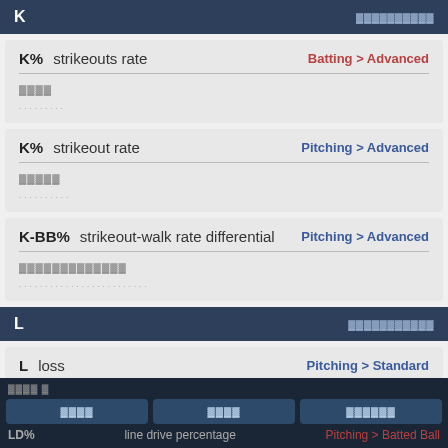K
| Abbr | Name | Category |
| --- | --- | --- |
| K% | strikeouts rate | Batting > Advanced |
| K% | strikeout rate | Pitching > Advanced |
| K-BB% | strikeout-walk rate differential | Pitching > Advanced |
L
| Abbr | Name | Category |
| --- | --- | --- |
| L | loss | Pitching > Standard |
| LD% | line drive percentage | Batting > Batted Ball |
Navigation bar with buttons